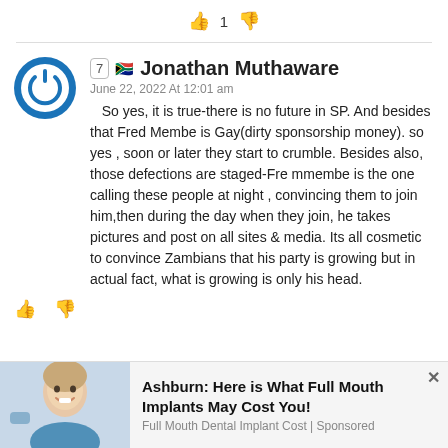[Figure (other): Thumbs up icon with count 1 and thumbs down icon vote row]
7 🇿🇦 Jonathan Muthaware
June 22, 2022 At 12:01 am

So yes, it is true-there is no future in SP. And besides that Fred Membe is Gay(dirty sponsorship money). so yes , soon or later they start to crumble. Besides also, those defections are staged-Fre mmembe is the one calling these people at night , convincing them to join him,then during the day when they join, he takes pictures and post on all sites & media. Its all cosmetic to convince Zambians that his party is growing but in actual fact, what is growing is only his head.
[Figure (other): Thumbs up and thumbs down icons vote row at bottom of comment]
[Figure (photo): Advertisement: Woman smiling with dental work. Ashburn: Here is What Full Mouth Implants May Cost You! Full Mouth Dental Implant Cost | Sponsored]